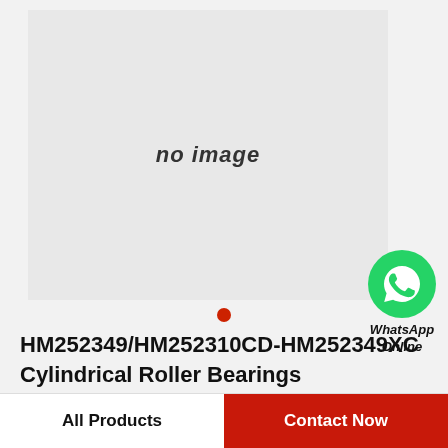[Figure (other): Product image placeholder showing 'no image' text on a light gray background]
[Figure (logo): WhatsApp green circle icon with phone handset, labeled 'WhatsApp Online']
HM252349/HM252310CD-HM252349XC Cylindrical Roller Bearings
All Products    Contact Now